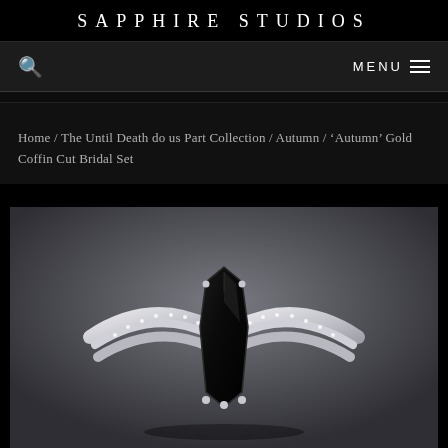SAPPHIRE STUDIOS
🔍   MENU ☰
Home / The Until Death do us Part Collection / Autumn / 'Autumn' Gold Coffin Cut Bridal Set
[Figure (photo): Close-up photograph of a silver coffin-cut black gemstone bridal ring set with pave diamond accents, displayed on a dark grey gradient background.]